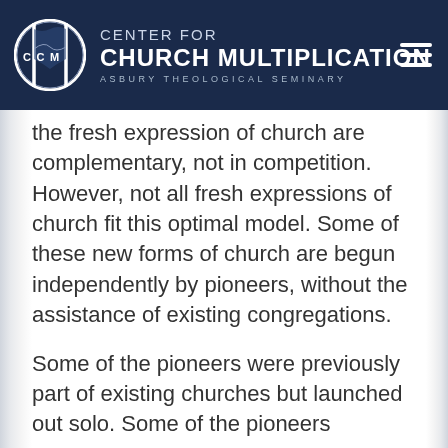CENTER FOR CHURCH MULTIPLICATION — ASBURY THEOLOGICAL SEMINARY
the fresh expression of church are complementary, not in competition. However, not all fresh expressions of church fit this optimal model. Some of these new forms of church are begun independently by pioneers, without the assistance of existing congregations.

Some of the pioneers were previously part of existing churches but launched out solo. Some of the pioneers